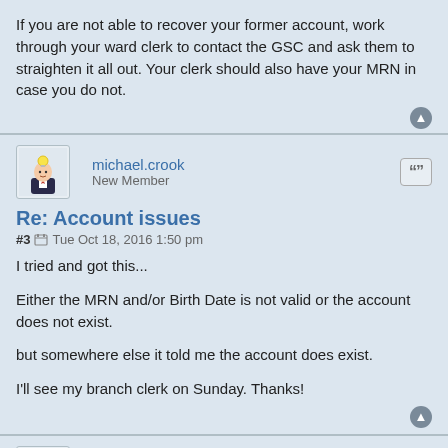If you are not able to recover your former account, work through your ward clerk to contact the GSC and ask them to straighten it all out. Your clerk should also have your MRN in case you do not.
michael.crook
New Member
Re: Account issues
#3  Tue Oct 18, 2016 1:50 pm
I tried and got this...

Either the MRN and/or Birth Date is not valid or the account does not exist.

but somewhere else it told me the account does exist.

I'll see my branch clerk on Sunday. Thanks!
mfmohlma
Senior Member
Re: Account issues